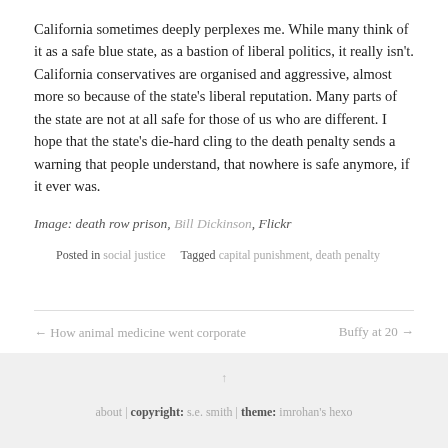California sometimes deeply perplexes me. While many think of it as a safe blue state, as a bastion of liberal politics, it really isn't. California conservatives are organised and aggressive, almost more so because of the state's liberal reputation. Many parts of the state are not at all safe for those of us who are different. I hope that the state's die-hard cling to the death penalty sends a warning that people understand, that nowhere is safe anymore, if it ever was.
Image: death row prison, Bill Dickinson, Flickr
Posted in social justice   Tagged capital punishment, death penalty
← How animal medicine went corporate     Buffy at 20 →
about | copyright: s.e. smith | theme: imrohan's hexo